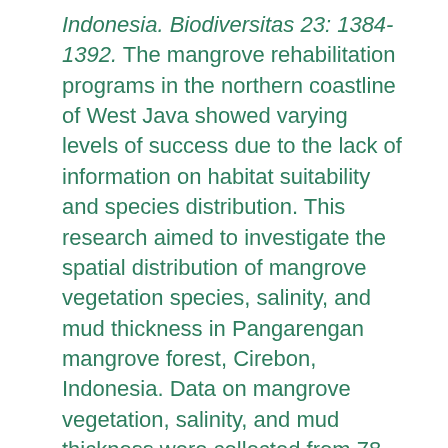Indonesia. Biodiversitas 23: 1384-1392. The mangrove rehabilitation programs in the northern coastline of West Java showed varying levels of success due to the lack of information on habitat suitability and species distribution. This research aimed to investigate the spatial distribution of mangrove vegetation species, salinity, and mud thickness in Pangarengan mangrove forest, Cirebon, Indonesia. Data on mangrove vegetation, salinity, and mud thickness were collected from 78 randomly distributed sample plots. Species composition was analyzed using important value index, and spatial distribution was examined using QGIS. Results revealed that Rhizophora mucronata was the most dominant and widely distributed species in all areas of Pangarengan mangrove forest with the important value index (IVI) for seedlings, saplings, poles, and trees were 178.69%, 219.71%, 242.21%, and 167.56%, respectively. Avicennia marina showed significant IVI in saplings (59.41%) and trees (105.21%). Other species had